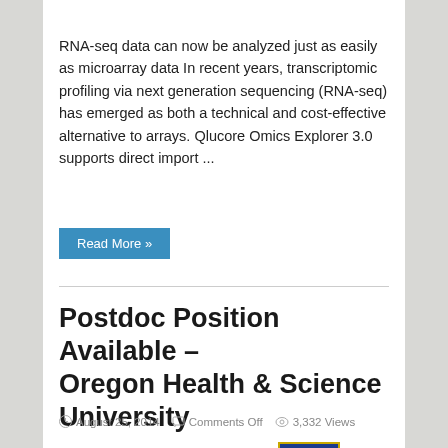[Figure (other): Blue banner/header strip at top of page]
RNA-seq data can now be analyzed just as easily as microarray data In recent years, transcriptomic profiling via next generation sequencing (RNA-seq) has emerged as both a technical and cost-effective alternative to arrays. Qlucore Omics Explorer 3.0 supports direct import ...
Read More »
Postdoc Position Available – Oregon Health & Science University
August 25, 2014   Comments Off   3,332 Views
[Figure (logo): Oregon Health & Science University logo — blue shield with flame and OREGON text]